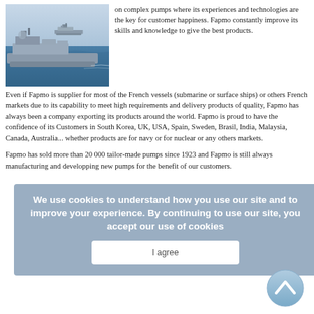[Figure (photo): Two military naval ships at sea, grey vessels, one in foreground and one in background]
on complex pumps where its experiences and technologies are the key for customer happiness. Fapmo constantly improve its skills and knowledge to give the best products.
Even if Fapmo is supplier for most of the French vessels (submarine or surface ships) or others French markets due to its capability to meet high requirements and delivery products of quality, Fapmo has always been a company exporting its products around the world. Fapmo is proud to have the confidence of its Customers in South Korea, UK, USA, Spain, Sweden, Brasil, India, Malaysia, Canada, Australia... whether products are for navy or for nuclear or any others markets.
Fapmo has sold more than 20 000 tailor-made pumps since 1923 and Fapmo is still always manufacturing and developping new pumps for the benefit of our customers.
We use cookies to understand how you use our site and to improve your experience. By continuing to use our site, you accept our use of cookies
I agree